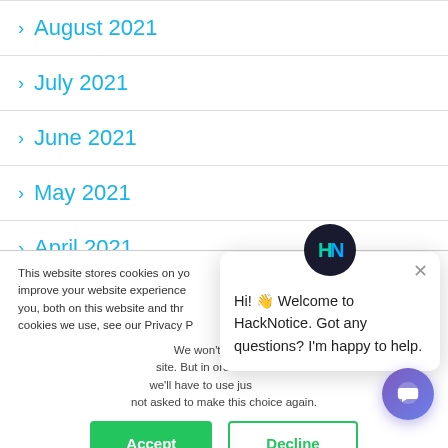> August 2021
> July 2021
> June 2021
> May 2021
> April 2021
This website stores cookies on your computer. These are used to improve your website experience you, both on this website and through cookies we use, see our Privacy P
We won't track your site. But in order to we'll have to use jus not asked to make this choice again.
Hi! 👋 Welcome to HackNotice. Got any questions? I'm happy to help.